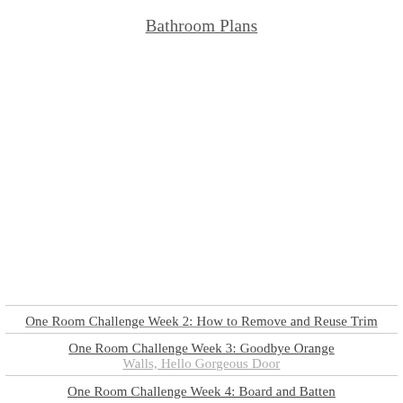Bathroom Plans
[Figure (photo): Large blank/white image area representing a bathroom plans photo placeholder]
One Room Challenge Week 2: How to Remove and Reuse Trim
One Room Challenge Week 3:  Goodbye Orange Walls, Hello Gorgeous Door
One Room Challenge Week 4: Board and Batten